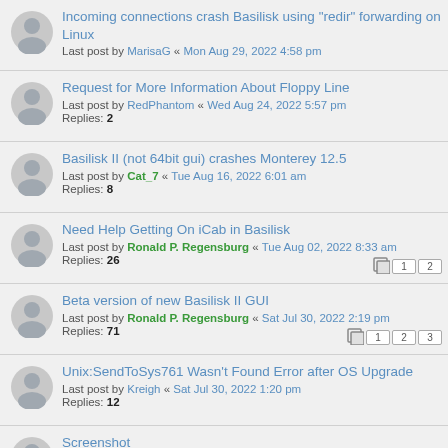Incoming connections crash Basilisk using "redir" forwarding on Linux
Last post by MarisaG « Mon Aug 29, 2022 4:58 pm
Request for More Information About Floppy Line
Last post by RedPhantom « Wed Aug 24, 2022 5:57 pm
Replies: 2
Basilisk II (not 64bit gui) crashes Monterey 12.5
Last post by Cat_7 « Tue Aug 16, 2022 6:01 am
Replies: 8
Need Help Getting On iCab in Basilisk
Last post by Ronald P. Regensburg « Tue Aug 02, 2022 8:33 am
Replies: 26
Beta version of new Basilisk II GUI
Last post by Ronald P. Regensburg « Sat Jul 30, 2022 2:19 pm
Replies: 71
Unix:SendToSys761 Wasn't Found Error after OS Upgrade
Last post by Kreigh « Sat Jul 30, 2022 1:20 pm
Replies: 12
Screenshot
Last post by Ronald P. Regensburg « Thu Jul 21, 2022 7:46 am
Replies: 1